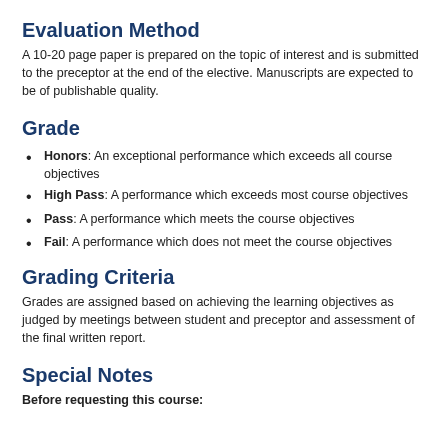Evaluation Method
A 10-20 page paper is prepared on the topic of interest and is submitted to the preceptor at the end of the elective. Manuscripts are expected to be of publishable quality.
Grade
Honors: An exceptional performance which exceeds all course objectives
High Pass: A performance which exceeds most course objectives
Pass: A performance which meets the course objectives
Fail: A performance which does not meet the course objectives
Grading Criteria
Grades are assigned based on achieving the learning objectives as judged by meetings between student and preceptor and assessment of the final written report.
Special Notes
Before requesting this course: